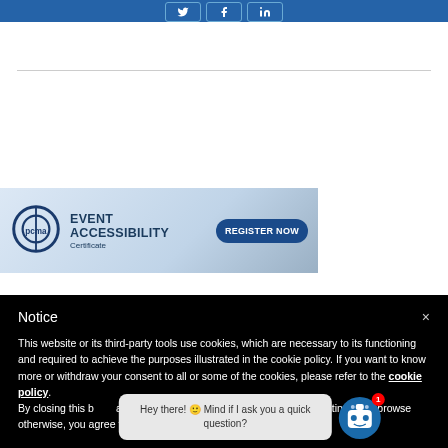[Figure (screenshot): Social media share buttons (Twitter, Facebook, LinkedIn) on a blue top bar]
[Figure (screenshot): PCMA Event Accessibility Certificate banner ad with Register Now button]
Notice
This website or its third-party tools use cookies, which are necessary to its functioning and required to achieve the purposes illustrated in the cookie policy. If you want to know more or withdraw your consent to all or some of the cookies, please refer to the cookie policy. By closing this banner, scrolling this page, clicking a link or continuing to browse otherwise, you agree to the use of co...
[Figure (screenshot): Chatbot popup with message: Hey there! Mind if I ask you a quick question? with robot icon and red badge showing 1]